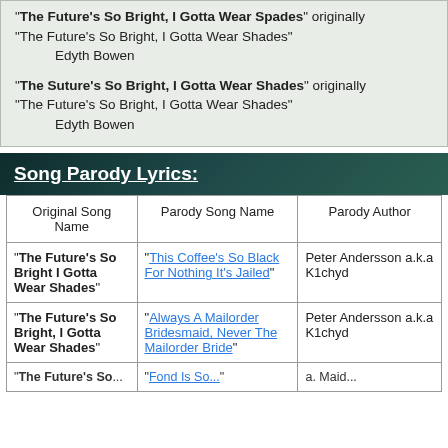"The Future's So Bright, I Gotta Wear Spades" originally "The Future's So Bright, I Gotta Wear Shades"
    Edyth Bowen
"The Suture's So Bright, I Gotta Wear Shades" originally "The Future's So Bright, I Gotta Wear Shades"
    Edyth Bowen
Song Parody Lyrics:
| Original Song Name | Parody Song Name | Parody Author |
| --- | --- | --- |
| "The Future's So Bright I Gotta Wear Shades" | "This Coffee's So Black For Nothing It's Jailed" | Peter Andersson a.k.a K1chyd |
| "The Future's So Bright, I Gotta Wear Shades" | "Always A Mailorder Bridesmaid, Never The Mailorder Bride" | Peter Andersson a.k.a K1chyd |
| "The Future's So... | "Fond Is So..." | a. Maid... |